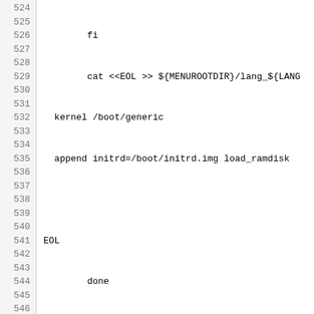Code listing lines 524-553: shell script code for generating grub menu files for UEFI boot, including function gen_uefimenu()